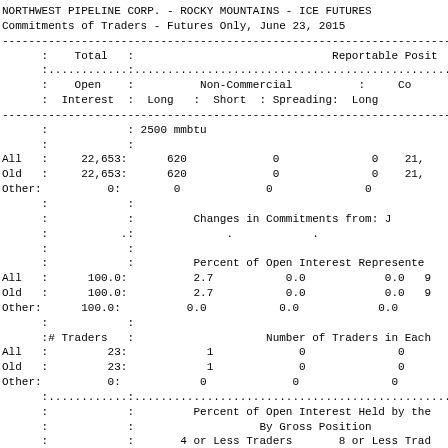NORTHWEST PIPELINE CORP. - ROCKY MOUNTAINS - ICE FUTURES
Commitments of Traders - Futures Only, June 23, 2015
|  | Total |  | Reportable Posit |  | Open Interest | Non-Commercial |  | Co | Long | Short | Spreading | Long |
| --- | --- | --- | --- | --- | --- | --- | --- | --- | --- | --- | --- | --- |
|  |  | 2500 mmbtu |  |  |  |
| All | 22,653: | 620 | 0 | 0 | 21, |
| Old | 22,653: | 620 | 0 | 0 | 21, |
| Other: | 0: | 0 | 0 | 0 |  |
|  |  | Changes in Commitments from: J |  |  |  |
|  |  | . | . | . |  |
|  |  | Percent of Open Interest Represented |  |  |  |
| All | 100.0: | 2.7 | 0.0 | 0.0 | 9 |
| Old | 100.0: | 2.7 | 0.0 | 0.0 | 9 |
| Other: | 100.0: | 0.0 | 0.0 | 0.0 |  |
|  | # Traders : |  | Number of Traders in Each |  |  |
| All | 23: | 1 | 0 | 0 |  |
| Old | 23: | 1 | 0 | 0 |  |
| Other: | 0: | 0 | 0 | 0 |  |
|  |  | Percent of Open Interest Held by the |  |  |  |
|  |  | By Gross Position |  |  |  |
|  |  | 4 or Less Traders |  | 8 or Less Trad |  |
|  |  | Long | Short | Long | Sh |